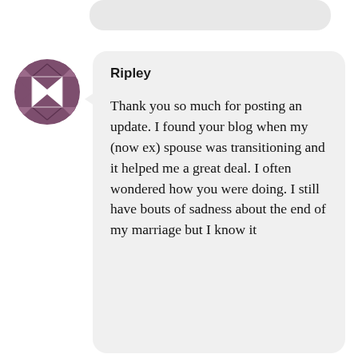[Figure (other): Partial outgoing message bubble at top of screen]
[Figure (illustration): Circular avatar icon with purple/mauve geometric diamond/square pattern on white background]
Ripley
Thank you so much for posting an update. I found your blog when my (now ex) spouse was transitioning and it helped me a great deal. I often wondered how you were doing. I still have bouts of sadness about the end of my marriage but I know it